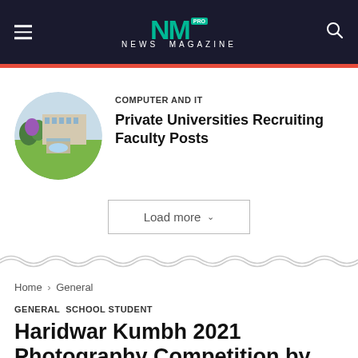NM PRO NEWS MAGAZINE
[Figure (photo): Aerial photo of a university campus with buildings, trees, and a courtyard, displayed in a circular crop]
COMPUTER AND IT
Private Universities Recruiting Faculty Posts
Load more
Home › General
GENERAL SCHOOL STUDENT
Haridwar Kumbh 2021 Photography Competition by Govt of India; Register by Apr 30